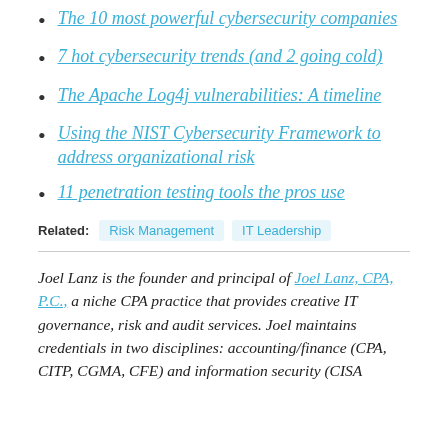The 10 most powerful cybersecurity companies
7 hot cybersecurity trends (and 2 going cold)
The Apache Log4j vulnerabilities: A timeline
Using the NIST Cybersecurity Framework to address organizational risk
11 penetration testing tools the pros use
Related: Risk Management  IT Leadership
Joel Lanz is the founder and principal of Joel Lanz, CPA, P.C., a niche CPA practice that provides creative IT governance, risk and audit services. Joel maintains credentials in two disciplines: accounting/finance (CPA, CITP, CGMA, CFE) and information security (CISA